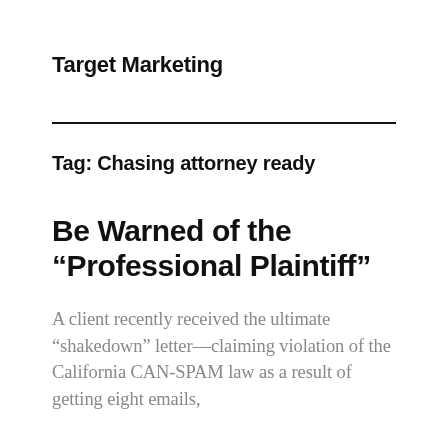Target Marketing
Tag: Chasing attorney ready
Be Warned of the “Professional Plaintiff”
A client recently received the ultimate “shakedown” letter—claiming violation of the California CAN-SPAM law as a result of getting eight emails,